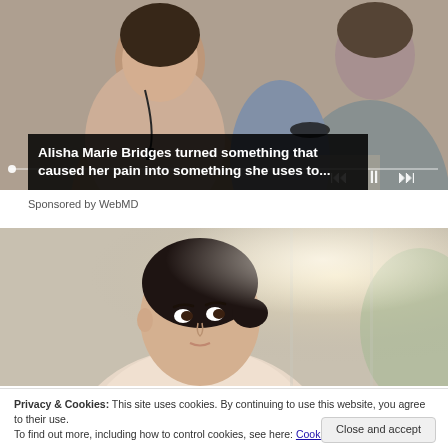[Figure (photo): Video thumbnail showing two women at a table, one wearing a pink cardigan with a lanyard, appearing to have a conversation. Video player controls (skip back, pause, skip forward) visible with a progress bar.]
Alisha Marie Bridges turned something that caused her pain into something she uses to...
Sponsored by WebMD
[Figure (photo): Photo of a young Asian woman with dark hair in a bun, looking to the side, near a window with soft natural light.]
Privacy & Cookies: This site uses cookies. By continuing to use this website, you agree to their use.
To find out more, including how to control cookies, see here: Cookie Policy
Close and accept